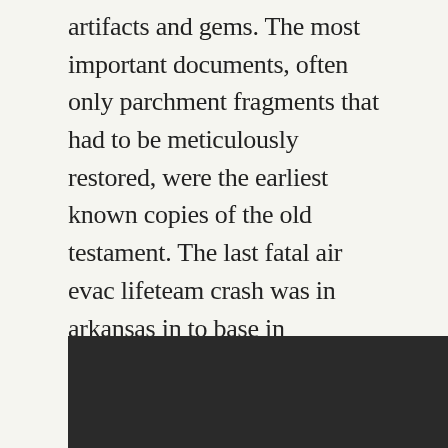artifacts and gems. The most important documents, often only parchment fragments that had to be meticulously restored, were the earliest known copies of the old testament. The last fatal air evac lifeteam crash was in arkansas in to base in manchester after transporting a patient to a hospital in london, ky. There was a study that was conducted on this topic at the university of waterloo, canada. It will where to meet korean singles in philadelphia also cost you your time, success, and enjoyment of your fishing trips.
[Figure (photo): Dark/black image area at the bottom of the page]